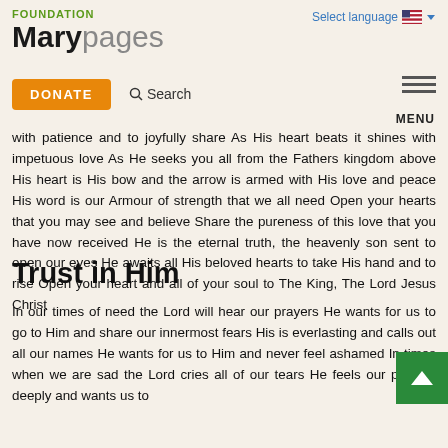FOUNDATION Marypages | Select language
with patience and to joyfully share As His heart beats it shines with impetuous love As He seeks you all from the Fathers kingdom above His heart is His bow and the arrow is armed with His love and peace His word is our Armour of strength that we all need Open your hearts that you may see and believe Share the pureness of this love that you have now received He is the eternal truth, the heavenly son sent to open our eyes He awaits all His beloved hearts to take His hand and to rise Open your heart and all of your soul to The King, The Lord Jesus Christ
Trust in Him
In our times of need the Lord will hear our prayers He wants for us to go to Him and share our innermost fears His is everlasting and calls out all our names He wants for us to Him and never feel ashamed In times when we are sad the Lord cries all of our tears He feels our pain so deeply and wants us to